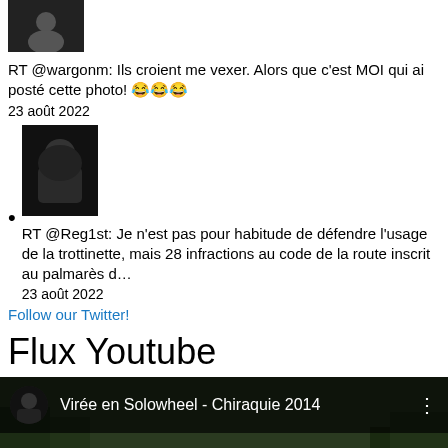[Figure (photo): Small dark avatar thumbnail (top tweet, no bullet)]
RT @wargonm: Ils croient me vexer. Alors que c'est MOI qui ai posté cette photo! 😂😂😂
23 août 2022
[Figure (photo): Dark avatar thumbnail showing back of person's head, associated with second tweet bullet point]
RT @Reg1st: Je n'est pas pour habitude de défendre l'usage de la trottinette, mais 28 infractions au code de la route inscrit au palmarès d…
23 août 2022
Follow our Twitter!
Flux Youtube
[Figure (screenshot): YouTube video embed showing 'Virée en Solowheel - Chiraquie 2014' with dark forest/road scene background, YouTube play button, channel avatar, title, and three-dot menu]